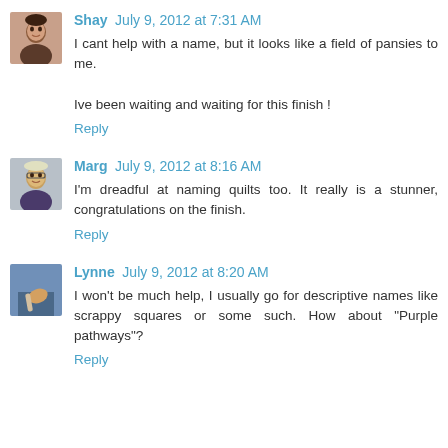[Figure (photo): Avatar photo of Shay - woman with dark hair]
Shay July 9, 2012 at 7:31 AM
I cant help with a name, but it looks like a field of pansies to me.

Ive been waiting and waiting for this finish !
Reply
[Figure (photo): Avatar photo of Marg - woman with glasses]
Marg July 9, 2012 at 8:16 AM
I'm dreadful at naming quilts too. It really is a stunner, congratulations on the finish.
Reply
[Figure (photo): Avatar photo of Lynne - person with hand visible]
Lynne July 9, 2012 at 8:20 AM
I won't be much help, I usually go for descriptive names like scrappy squares or some such. How about "Purple pathways"?
Reply